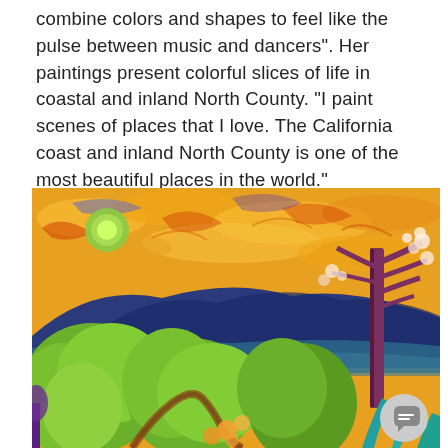combine colors and shapes to feel like the pulse between music and dancers". Her paintings present colorful slices of life in coastal and inland North County. "I paint scenes of places that I love. The California coast and inland North County is one of the most beautiful places in the world."
[Figure (illustration): A vibrant expressionist painting depicting a California landscape with a golden swirling sky, a large blue mountain in the background, lush green foliage and trees in the foreground, and a brownish-purple tree on the right side. The style is reminiscent of Van Gogh with thick, swirling brushstrokes and vivid colors including yellows, greens, blues, and oranges.]